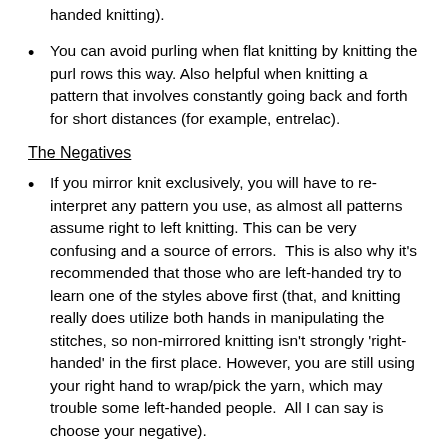handed knitting).
You can avoid purling when flat knitting by knitting the purl rows this way. Also helpful when knitting a pattern that involves constantly going back and forth for short distances (for example, entrelac).
The Negatives
If you mirror knit exclusively, you will have to re-interpret any pattern you use, as almost all patterns assume right to left knitting. This can be very confusing and a source of errors.  This is also why it's recommended that those who are left-handed try to learn one of the styles above first (that, and knitting really does utilize both hands in manipulating the stitches, so non-mirrored knitting isn't strongly 'right-handed' in the first place. However, you are still using your right hand to wrap/pick the yarn, which may trouble some left-handed people.  All I can say is choose your negative).
So You Want to Learn It?